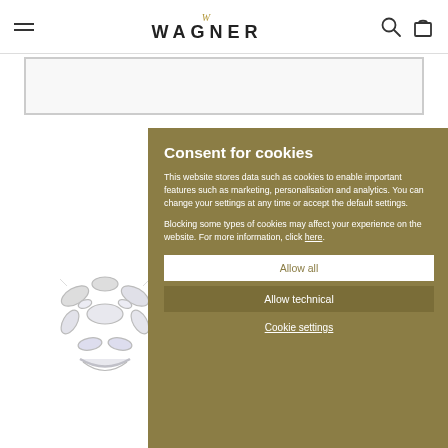WAGNER
[Figure (screenshot): Grey bordered rectangle placeholder below navigation bar]
[Figure (photo): Silver jewellery ring with crystal/diamond floral design on white background]
Consent for cookies
This website stores data such as cookies to enable important features such as marketing, personalisation and analytics. You can change your settings at any time or accept the default settings.
Blocking some types of cookies may affect your experience on the website. For more information, click here.
Allow all
Allow technical
Cookie settings